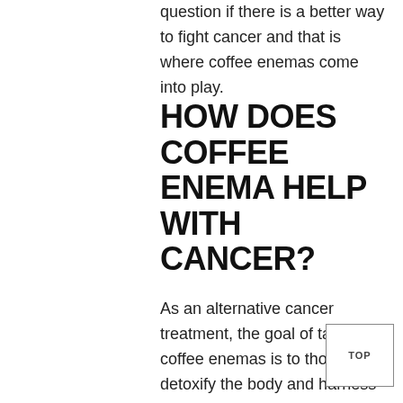question if there is a better way to fight cancer and that is where coffee enemas come into play.
HOW DOES COFFEE ENEMA HELP WITH CANCER?
As an alternative cancer treatment, the goal of taking coffee enemas is to thoroughly detoxify the body and harness the human body's natural ability to reverse dreaded diseases. ?Even doctors agree that cancer cells tend to grow out of control due to environmental factors. All cancer patients tend to have abnormally high toxicity levels